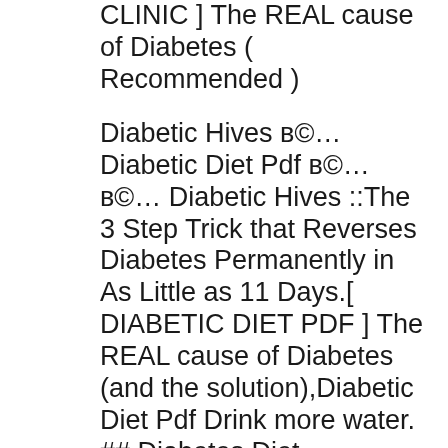CLINIC ] The REAL cause of Diabetes ( Recommended )
Diabetic Hives в©... Diabetic Diet Pdf в©...в©... Diabetic Hives ::The 3 Step Trick that Reverses Diabetes Permanently in As Little as 11 Days.[ DIABETIC DIET PDF ] The REAL cause of Diabetes (and the solution),Diabetic Diet Pdf Drink more water. ## Diabetes Diet Guidelines Mayo Clinic в©...в©... Diabetes Diet Plan Pdf The 7 Step Trick that Reverses Diabetes Permanently in As Little as 11 Days.[ DIABETES DIET GUIDELINES MAYO CLINIC ] The REAL cause of Diabetes ( Recommended ),Diabetes Diet Guidelines Mayo Clinic Working out can help to reduce the